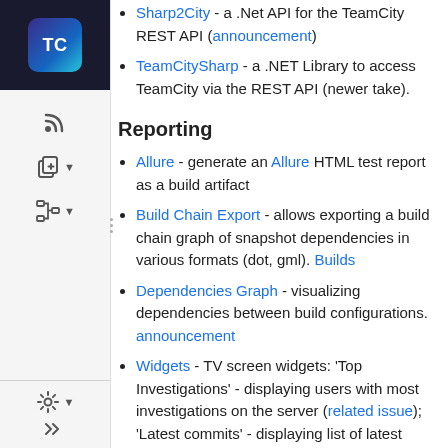Sharp2City - a .Net API for the TeamCity REST API (announcement)
TeamCitySharp - a .NET Library to access TeamCity via the REST API (newer take).
Reporting
Allure - generate an Allure HTML test report as a build artifact
Build Chain Export - allows exporting a build chain graph of snapshot dependencies in various formats (dot, gml). Builds
Dependencies Graph - visualizing dependencies between build configurations. announcement
Widgets - TV screen widgets: 'Top Investigations' - displaying users with most investigations on the server (related issue); 'Latest commits' - displaying list of latest VCS changes
Maven/TeamCity dependencies Tab - displays Maven project dependencies marking those with corresponding TeamCity build configurations
Pivot report - based on the new pivot viewer